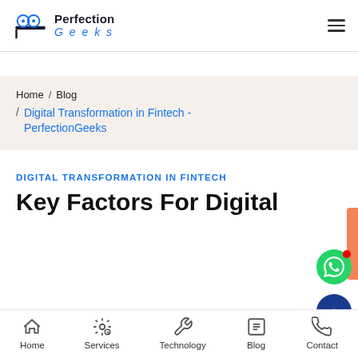Perfection Geeks
Home / Blog / Digital Transformation in Fintech - PerfectionGeeks
DIGITAL TRANSFORMATION IN FINTECH
Key Factors For Digital
Home | Services | Technology | Blog | Contact